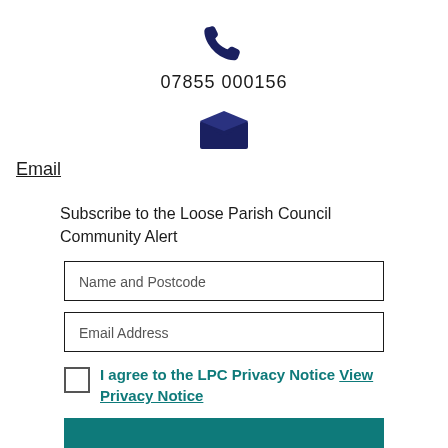[Figure (illustration): Dark navy phone/telephone icon centered on the page]
07855 000156
[Figure (illustration): Dark navy open envelope/email icon centered on the page]
Email
Subscribe to the Loose Parish Council Community Alert
Name and Postcode
Email Address
I agree to the LPC Privacy Notice View Privacy Notice
[Figure (illustration): Teal Subscribe button at the bottom]